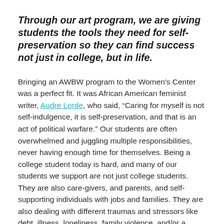Through our art program, we are giving students the tools they need for self-preservation so they can find success not just in college, but in life.
Bringing an AWBW program to the Women's Center was a perfect fit. It was African American feminist writer, Audre Lorde, who said, “Caring for myself is not self-indulgence, it is self-preservation, and that is an act of political warfare.” Our students are often overwhelmed and juggling multiple responsibilities, never having enough time for themselves. Being a college student today is hard, and many of our students we support are not just college students. They are also care-givers, and parents, and self-supporting individuals with jobs and families. They are also dealing with different traumas and stressors like debt, illness, loneliness, family violence, and/or a global pandemic. For many of our